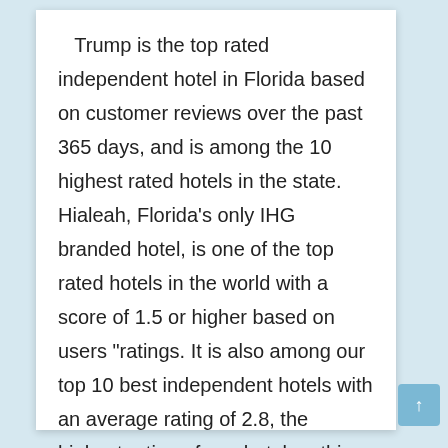Trump is the top rated independent hotel in Florida based on customer reviews over the past 365 days, and is among the 10 highest rated hotels in the state. Hialeah, Florida's only IHG branded hotel, is one of the top rated hotels in the world with a score of 1.5 or higher based on users "ratings. It is also among our top 10 best independent hotels with an average rating of 2.8, the highest rating of any hotel on this list.

The top rated Marriott and Starwood hotels are among the top 10 independent